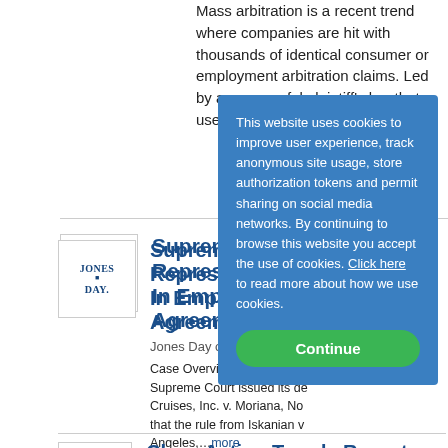Mass arbitration is a recent trend where companies are hit with thousands of identical consumer or employment arbitration claims. Led by a resourceful plaintiff's bar that uses targeted online ads…
Supreme Court Rules On Representative Claims In Employee Arbitration Agreements
Jones Day on 6/29/2022
Case Overview - On June 15, the Supreme Court issued its decision in Viking Cruises, Inc. v. Moriana, No.—, ruling that the rule from Iskanian v. CLS Transportation Los Angeles,…more
Class Action Trends Report June 2022
This website uses cookies to improve user experience, track anonymous site usage, store authorization tokens and permit sharing on social media networks. By continuing to browse this website you accept the use of cookies. Click here to read more about how we use cookies.
Continue